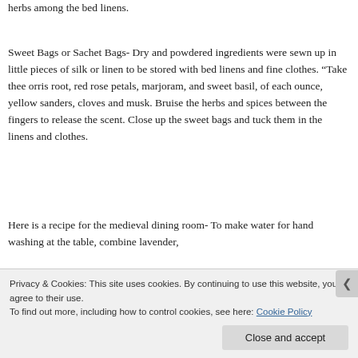herbs among the bed linens.
Sweet Bags or Sachet Bags- Dry and powdered ingredients were sewn up in little pieces of silk or linen to be stored with bed linens and fine clothes. “Take thee orris root, red rose petals, marjoram, and sweet basil, of each ounce, yellow sanders, cloves and musk. Bruise the herbs and spices between the fingers to release the scent. Close up the sweet bags and tuck them in the linens and clothes.
Here is a recipe for the medieval dining room- To make water for hand washing at the table, combine lavender,
Privacy & Cookies: This site uses cookies. By continuing to use this website, you agree to their use.
To find out more, including how to control cookies, see here: Cookie Policy